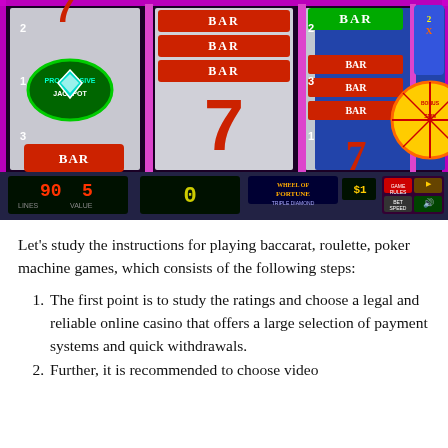[Figure (photo): A slot machine screen showing reels with 7s, BAR symbols, and Wheel of Fortune branding. Display shows credits: 90, value: 5, and 0 in the center. Pink/purple neon borders visible.]
Let’s study the instructions for playing baccarat, roulette, poker machine games, which consists of the following steps:
The first point is to study the ratings and choose a legal and reliable online casino that offers a large selection of payment systems and quick withdrawals.
Further, it is recommended to choose video